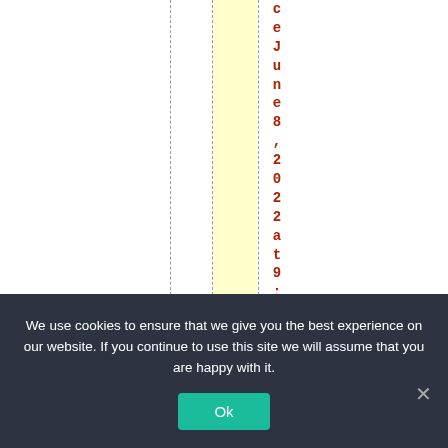[Figure (other): A table or spreadsheet view with vertical dashed column dividers and one yellow highlighted column. Rotated red text reading 'ceJune 8, 2022 at 9:57' runs vertically down the right side of the highlighted column area.]
We use cookies to ensure that we give you the best experience on our website. If you continue to use this site we will assume that you are happy with it.